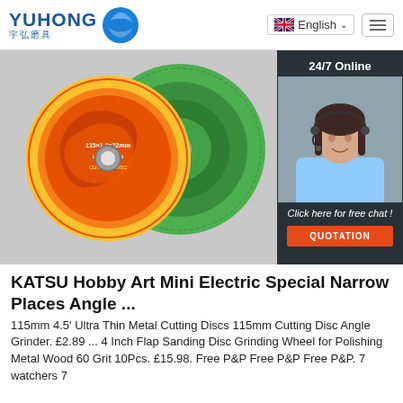[Figure (logo): YUHONG logo with Chinese characters 宇弘磨具 and blue wave/globe icon]
[Figure (screenshot): Website header showing English language selector with UK flag and hamburger menu button]
[Figure (photo): Two grinding/cutting discs - one with colorful label and one green, with 24/7 Online chat sidebar showing female agent and QUOTATION button]
KATSU Hobby Art Mini Electric Special Narrow Places Angle ...
115mm 4.5' Ultra Thin Metal Cutting Discs 115mm Cutting Disc Angle Grinder. £2.89 ... 4 Inch Flap Sanding Disc Grinding Wheel for Polishing Metal Wood 60 Grit 10Pcs. £15.98. Free P&P Free P&P Free P&P. 7 watchers 7